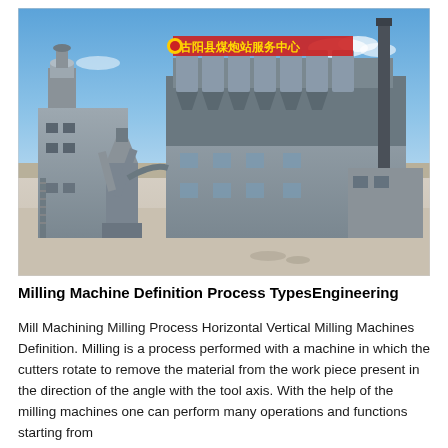[Figure (photo): Aerial/ground-level photograph of a large industrial milling facility with grey multi-story buildings, silos, conveyor systems, a tall chimney stack, and Chinese signage in red characters on the main building. The facility is set against a clear blue sky with dry terrain in the background.]
Milling Machine Definition Process TypesEngineering
Mill Machining Milling Process Horizontal Vertical Milling Machines Definition. Milling is a process performed with a machine in which the cutters rotate to remove the material from the work piece present in the direction of the angle with the tool axis. With the help of the milling machines one can perform many operations and functions starting from